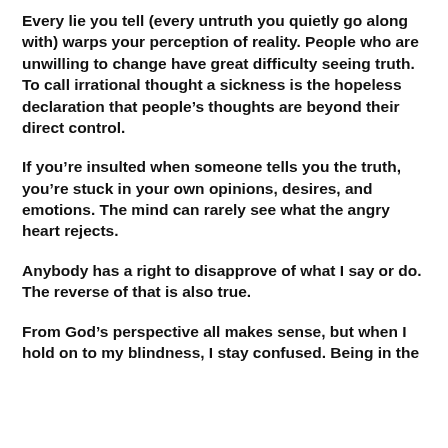Every lie you tell (every untruth you quietly go along with) warps your perception of reality. People who are unwilling to change have great difficulty seeing truth. To call irrational thought a sickness is the hopeless declaration that people’s thoughts are beyond their direct control.
If you’re insulted when someone tells you the truth, you’re stuck in your own opinions, desires, and emotions. The mind can rarely see what the angry heart rejects.
Anybody has a right to disapprove of what I say or do. The reverse of that is also true.
From God’s perspective all makes sense, but when I hold on to my blindness, I stay confused. Being in the